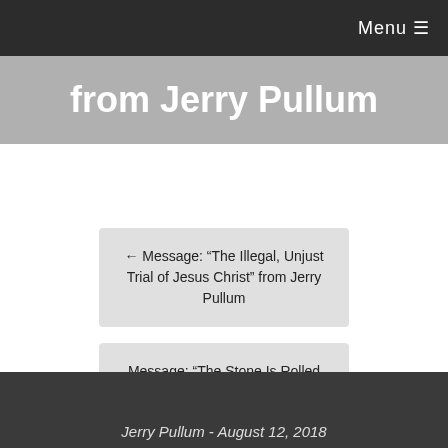Menu ☰
from Jerry Pullum
← Message: “The Illegal, Unjust Trial of Jesus Christ” from Jerry Pullum
Message: “The Stone Is Rolled Away!” from Jerry Pullum →
Jerry Pullum - August 12, 2018